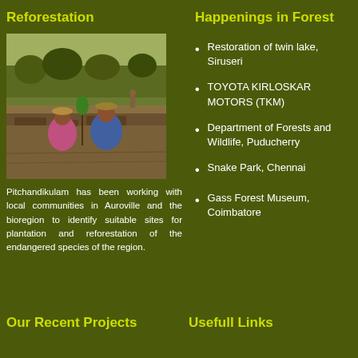Reforestation
[Figure (photo): Workers planting trees at a reforestation site, two people crouching on dry earth with a sapling]
Pitchandikulam has been working with local communities in Auroville and the bioregion to identify suitable sites for plantation and reforestation of the endangered species of the region.
Happenings in Forest
Restoration of twin lake, Siruseri
TOYOTA KIRLOSKAR MOTORS (TKM)
Department of Forests and Wildlife, Puducherry
Snake Park, Chennai
Gass Forest Museum, Coimbatore
Our Recent Projects
Usefull Links